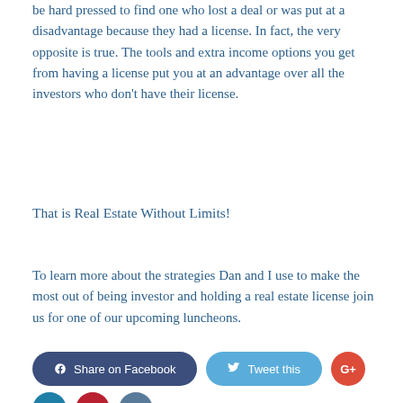be hard pressed to find one who lost a deal or was put at a disadvantage because they had a license. In fact, the very opposite is true. The tools and extra income options you get from having a license put you at an advantage over all the investors who don't have their license.
That is Real Estate Without Limits!
To learn more about the strategies Dan and I use to make the most out of being investor and holding a real estate license join us for one of our upcoming luncheons.
[Figure (other): Social sharing buttons: Share on Facebook (dark blue pill), Tweet this (light blue pill), G+ (red circle), LinkedIn (teal circle), Pinterest (red circle), VK (grey-blue circle)]